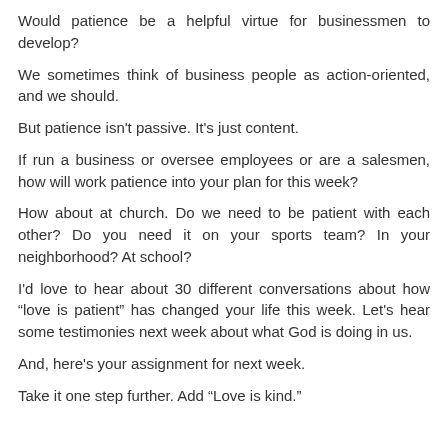Would patience be a helpful virtue for businessmen to develop?
We sometimes think of business people as action-oriented, and we should.
But patience isn't passive. It's just content.
If run a business or oversee employees or are a salesmen, how will work patience into your plan for this week?
How about at church. Do we need to be patient with each other? Do you need it on your sports team? In your neighborhood? At school?
I'd love to hear about 30 different conversations about how “love is patient” has changed your life this week. Let's hear some testimonies next week about what God is doing in us.
And, here's your assignment for next week.
Take it one step further. Add “Love is kind.”